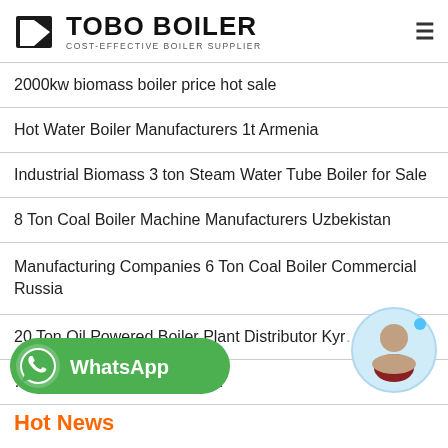TOBO BOILER — COST-EFFECTIVE BOILER SUPPLIER
2000kw biomass boiler price hot sale
Hot Water Boiler Manufacturers 1t Armenia
Industrial Biomass 3 ton Steam Water Tube Boiler for Sale
8 Ton Coal Boiler Machine Manufacturers Uzbekistan
Manufacturing Companies 6 Ton Coal Boiler Commercial Russia
20 Ton Oil Powered Boiler Plant Distributor Kyr...
...g Boiler Industrial Moldavia
[Figure (illustration): WhatsApp button with green background and phone icon]
Hot News